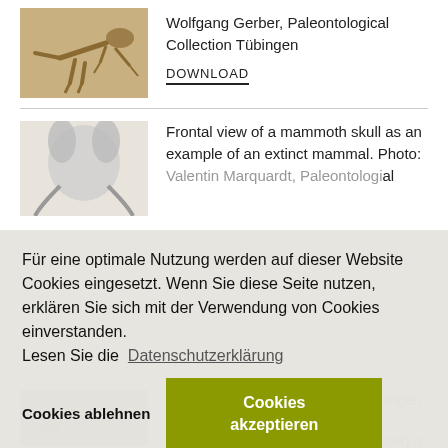[Figure (photo): Dinosaur skeleton (T-rex) displayed in a museum setting]
Wolfgang Gerber, Paleontological Collection Tübingen
DOWNLOAD
[Figure (photo): Frontal view of a mammoth skull]
Frontal view of a mammoth skull as an example of an extinct mammal. Photo: Valentin Marquardt, Paleontological al
Für eine optimale Nutzung werden auf dieser Website Cookies eingesetzt. Wenn Sie diese Seite nutzen, erklären Sie sich mit der Verwendung von Cookies einverstanden. Lesen Sie die Datenschutzerklärung
Cookies ablehnen
Cookies akzeptieren
[Figure (photo): Close-up of fossil bone specimen]
Stained bone sections from the Tübingen Paleontological Collection. The blackstained slice on the far left (arrow) is the premaxillary bone. Behind it, in orange, is the maxillary